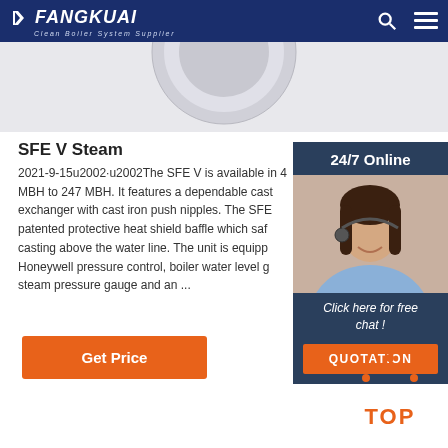FANGKUAI - Clean Boiler System Supplier
[Figure (photo): Partial product image of a boiler or circular component on light grey background]
SFE V Steam
2021-9-15u2002·u2002The SFE V is available in 4 MBH to 247 MBH. It features a dependable cast exchanger with cast iron push nipples. The SFE patented protective heat shield baffle which saf casting above the water line. The unit is equipp Honeywell pressure control, boiler water level g steam pressure gauge and an ...
[Figure (photo): Customer service agent - woman with headset smiling, with 24/7 Online label and chat/quotation overlay]
Get Price
[Figure (other): TOP button with orange dots arranged in arrow/chevron shape above orange TOP text]